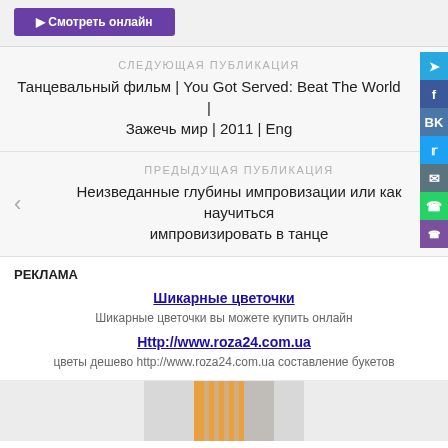[Figure (screenshot): Purple button at top of page]
СЛЕДУЮЩАЯ ПУБЛИКАЦИЯ
Танцевальный фильм | You Got Served: Beat The World | Зажечь мир | 2011 | Eng
ПРЕДЫДУЩАЯ ПУБЛИКАЦИЯ
Неизведанные глубины импровизации или как научиться импровизировать в танце
РЕКЛАМА
Шикарные цветочки
Шикарные цветочки вы можете купить онлайн
Http://www.roza24.com.ua
цветы дешево http://www.roza24.com.ua составление букетов
[Figure (photo): Partial image of person with orange/striped clothing at bottom]